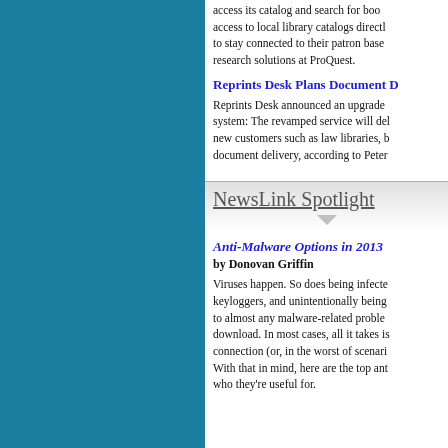access its catalog and search for books access to local library catalogs directly to stay connected to their patron base research solutions at ProQuest.
Reprints Desk Plans Document D
Reprints Desk announced an upgrade system: The revamped service will del new customers such as law libraries, b document delivery, according to Peter
NewsLink Spotlight
Anti-Malware Options in 2013
by Donovan Griffin
Viruses happen. So does being infecte keyloggers, and unintentionally being to almost any malware-related proble download. In most cases, all it takes i connection (or, in the worst of scenari With that in mind, here are the top ant who they're useful for.